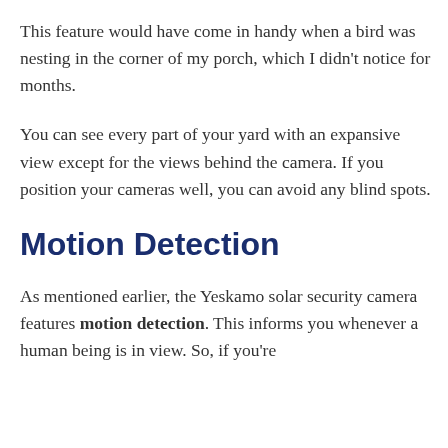This feature would have come in handy when a bird was nesting in the corner of my porch, which I didn't notice for months.
You can see every part of your yard with an expansive view except for the views behind the camera. If you position your cameras well, you can avoid any blind spots.
Motion Detection
As mentioned earlier, the Yeskamo solar security camera features motion detection. This informs you whenever a human being is in view. So, if you're